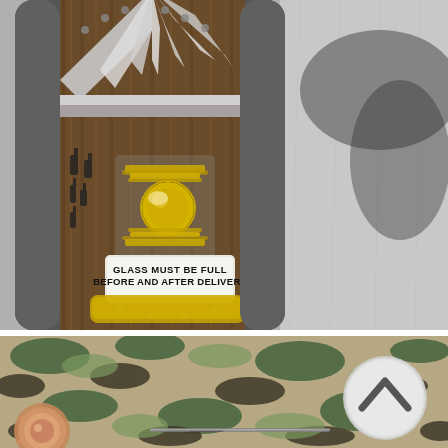[Figure (photo): Close-up photo of a vintage-style machine or safe door panel. The device has a dark wood-grain central panel with decorative chrome/gold metallic accents and rivets. A prominent gold/chrome Art Deco style handle or mechanism is in the center. A white rectangular label plate reads 'GLASS MUST BE FULL BEFORE AND AFTER DELIVERY' in black lettering. The upper portion shows a silver fan-shaped decorative element with radial lines. The background to the right is a brushed metallic silver surface.]
[Figure (photo): Partial view of items against a camouflage (military woodland camo pattern) background with green, tan, khaki, and dark brown colors. A circular button/badge with a white chevron/up-arrow icon is visible on the right side. On the lower left is a rose gold watch or jewelry item. A thin metallic rod or stick object is visible in the center-lower area.]